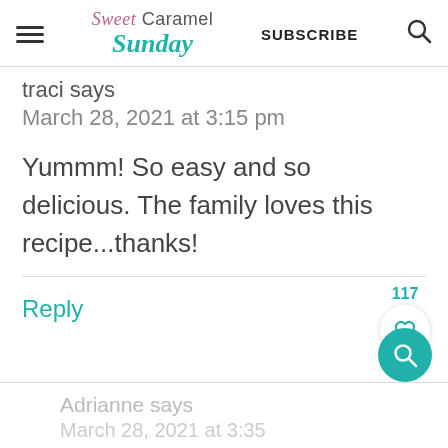Sweet Caramel Sunday | SUBSCRIBE
traci says
March 28, 2021 at 3:15 pm
Yummm! So easy and so delicious. The family loves this recipe...thanks!
Reply
Adrianne says
March 28, 2021 at 3:35